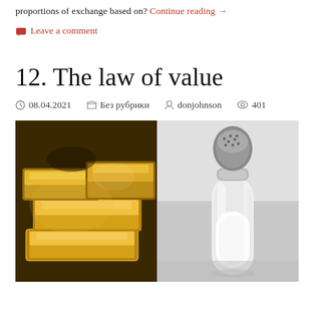proportions of exchange based on? Continue reading →
Leave a comment
12. The law of value
08.04.2021   Без рубрики   donjohnson   401
[Figure (photo): Split image showing gold bars/ingots on the left and a glass salt shaker on the right, representing the concept of value in economics.]